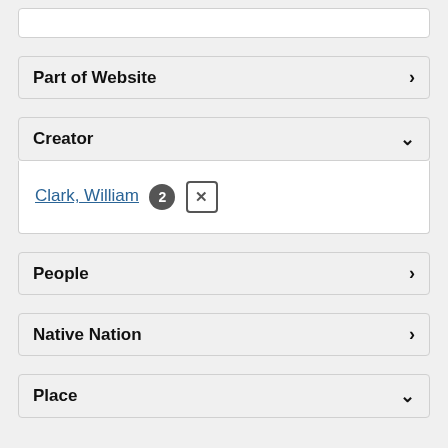Part of Website
Creator
Clark, William 2 ✕
People
Native Nation
Place